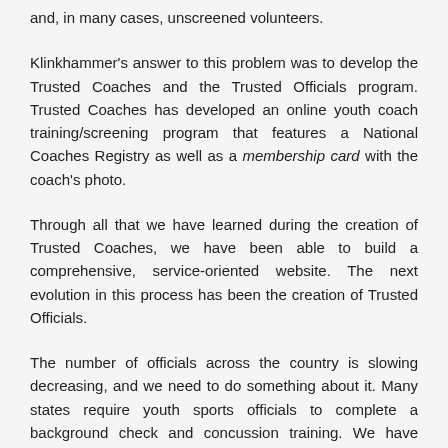and, in many cases, unscreened volunteers.
Klinkhammer's answer to this problem was to develop the Trusted Coaches and the Trusted Officials program. Trusted Coaches has developed an online youth coach training/screening program that features a National Coaches Registry as well as a membership card with the coach's photo.
Through all that we have learned during the creation of Trusted Coaches, we have been able to build a comprehensive, service-oriented website. The next evolution in this process has been the creation of Trusted Officials.
The number of officials across the country is slowing decreasing, and we need to do something about it. Many states require youth sports officials to complete a background check and concussion training. We have been in the business of training officials for many years, so by using the Trusted Coaches platform as a